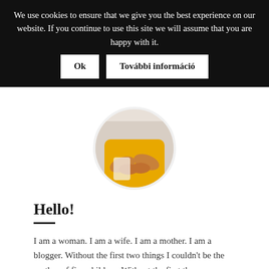We use cookies to ensure that we give you the best experience on our website. If you continue to use this site we will assume that you are happy with it.
Ok | További információ
[Figure (photo): Circular profile photo of a woman wearing a yellow outfit, cropped to show her torso and hands, with a white/grey background.]
Hello!
I am a woman. I am a wife. I am a mother. I am a blogger. Without the first two things I couldn't be the mother of five children. Without the first three ones you wouldn't read these lines here. Their order is important. It defines my place, and it expresses everything that I am. Mom With Five blog was born to be a place where we can be our authentic selves as parents: not perfect, but the most outstanding in our goodness. A dash of